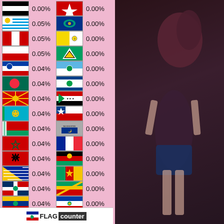| Flag | Percentage | Flag | Percentage |
| --- | --- | --- | --- |
| [flag] | 0.00% | [flag] | 0.00% |
| Uruguay | 0.05% | Guam | 0.00% |
| Peru | 0.05% | [flag] | 0.00% |
| [flag] | 0.05% | Saint Lucia | 0.00% |
| Slovenia | 0.04% | San Marino | 0.00% |
| Bangladesh | 0.04% | Belize | 0.00% |
| Macedonia | 0.04% | [flag] | 0.00% |
| Kazakhstan | 0.04% | [flag] | 0.00% |
| Belarus | 0.04% | Mayotte | 0.00% |
| Morocco | 0.04% | France | 0.00% |
| Albania | 0.04% | [flag] | 0.00% |
| Bosnia | 0.04% | Cameroon | 0.00% |
| Dominican Rep. | 0.04% | Congo | 0.00% |
| Ecuador/Venezuela | 0.04% | Nicaragua | 0.00% |
| Iceland/Norway | 0.03% | Vietnam/Suriname | 0.00% |
| Iraq | 0.03% |  |  |
[Figure (logo): Flag Counter logo at bottom of panel]
[Figure (photo): Dark background with anime-style character silhouette]